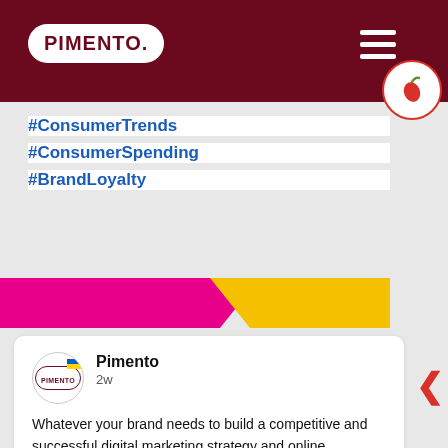PIMENTO.
#ConsumerTrends
#ConsumerSpending
#BrandLoyalty
[Figure (illustration): Diagonal color bar with magenta/pink on the left and yellow/gold on the right]
Pimento
2w

Whatever your brand needs to build a competitive and successful digital marketing strategy and online presence, Pimento will deliver.

We are the UK's leading and largest digital marketing network, with over 150 member agencies and consultants